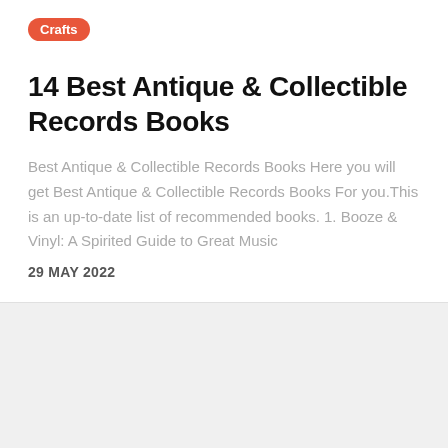Crafts
14 Best Antique & Collectible Records Books
Best Antique & Collectible Records Books Here you will get Best Antique & Collectible Records Books For you.This is an up-to-date list of recommended books. 1. Booze & Vinyl: A Spirited Guide to Great Music
29 MAY 2022